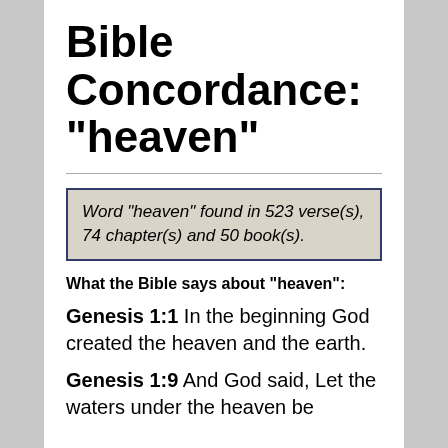Bible Concordance: "heaven"
Word "heaven" found in 523 verse(s), 74 chapter(s) and 50 book(s).
What the Bible says about "heaven":
Genesis 1:1  In the beginning God created the heaven and the earth.
Genesis 1:9  And God said, Let the waters under the heaven be